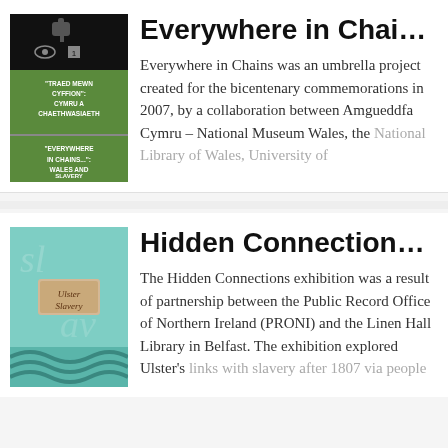[Figure (illustration): Book cover for 'Traed Mewn Cyffion: Cymru a Chaethwasiaeth / Everywhere in Chains...: Wales and Slavery' — black background with green band, white text, small figure silhouette]
Everywhere in Chains: W...
Everywhere in Chains was an umbrella project created for the bicentenary commemorations in 2007, by a collaboration between Amgueddfa Cymru – National Museum Wales, the National Library of Wales, University of
[Figure (photo): Cover image for 'Ulster Slavery' — teal/turquoise background with rope and a label reading 'Ulster Slavery']
Hidden Connections: Uls...
The Hidden Connections exhibition was a result of partnership between the Public Record Office of Northern Ireland (PRONI) and the Linen Hall Library in Belfast. The exhibition explored Ulster's links with slavery after 1807 via people